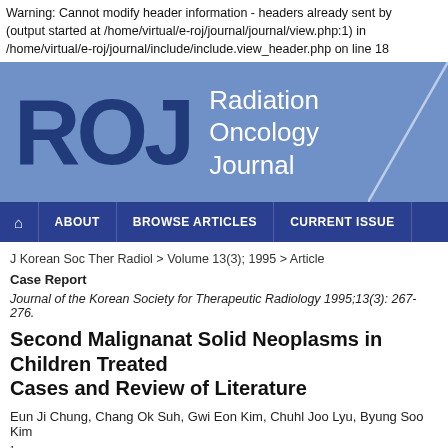Warning: Cannot modify header information - headers already sent by (output started at /home/virtual/e-roj/journal/journal/view.php:1) in /home/virtual/e-roj/journal/include/include.view_header.php on line 18
[Figure (logo): Radiation Oncology Journal (ROJ) logo banner with large blue ROJ letters on a medium blue background, with the text 'Radiation Oncology Journal' in white on the right side.]
[Figure (infographic): Navigation bar with dark blue background containing: home icon, ABOUT, BROWSE ARTICLES, CURRENT ISSUE]
J Korean Soc Ther Radiol > Volume 13(3); 1995 > Article
Case Report
Journal of the Korean Society for Therapeutic Radiology 1995;13(3): 267-276.
Second Malignanat Solid Neoplasms in Children Treated Cases and Review of Literature
Eun Ji Chung, Chang Ok Suh, Gwi Eon Kim, Chuhl Joo Lyu, Byung Soo Kim
1Department of Radiation Oncology, Yonsei University College of Medicine, Seoul,
2Department of Pediatrics, Yonsei University College of Medicine, Seoul, Korea.